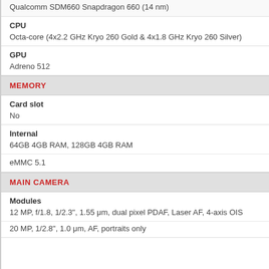Qualcomm SDM660 Snapdragon 660 (14 nm)
CPU
Octa-core (4x2.2 GHz Kryo 260 Gold & 4x1.8 GHz Kryo 260 Silver)
GPU
Adreno 512
MEMORY
Card slot
No
Internal
64GB 4GB RAM, 128GB 4GB RAM
eMMC 5.1
MAIN CAMERA
Modules
12 MP, f/1.8, 1/2.3", 1.55 μm, dual pixel PDAF, Laser AF, 4-axis OIS
20 MP, 1/2.8", 1.0 μm, AF, portraits only